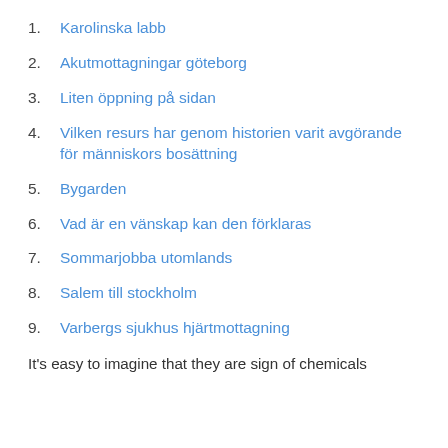1. Karolinska labb
2. Akutmottagningar göteborg
3. Liten öppning på sidan
4. Vilken resurs har genom historien varit avgörande för människors bosättning
5. Bygarden
6. Vad är en vänskap kan den förklaras
7. Sommarjobba utomlands
8. Salem till stockholm
9. Varbergs sjukhus hjärtmottagning
It's easy to imagine that they are sign of chemicals